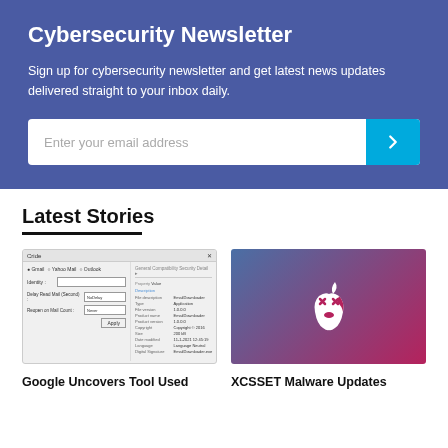Cybersecurity Newsletter
Sign up for cybersecurity newsletter and get latest news updates delivered straight to your inbox daily.
[Figure (screenshot): Email input form with a text field saying 'Enter your email address' and a cyan arrow button]
Latest Stories
[Figure (screenshot): Windows dialog screenshot showing Credentials and email settings dialog with radio buttons and fields]
Google Uncovers Tool Used
[Figure (illustration): Gradient teal to pink/red background with a white zombie Apple logo icon]
XCSSET Malware Updates